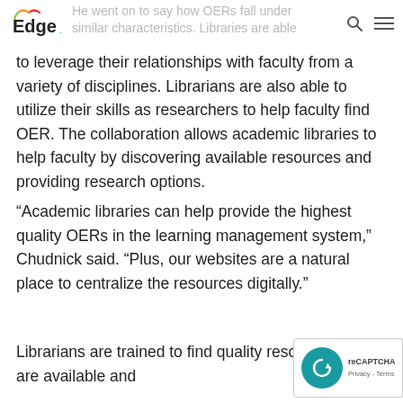Edge [logo] | He went on to say how OERs fall under similar characteristics. Libraries are able
to leverage their relationships with faculty from a variety of disciplines. Librarians are also able to utilize their skills as researchers to help faculty find OER. The collaboration allows academic libraries to help faculty by discovering available resources and providing research options.
“Academic libraries can help provide the highest quality OERs in the learning management system,” Chudnick said. “Plus, our websites are a natural place to centralize the resources digitally.”
Librarians are trained to find quality resources that are available and
[Figure (logo): reCAPTCHA badge with teal circle icon and Privacy - Terms text]